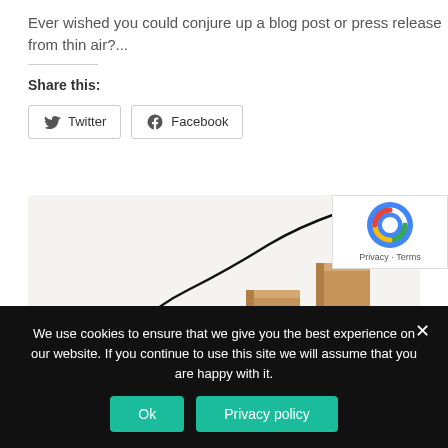Ever wished you could conjure up a blog post or press release from thin air?...
Share this:
[Figure (illustration): An illustration of a paper airplane flying upward along a curved black line path, with wooden block steps rising in the background, representing growth or progress.]
[Figure (logo): reCAPTCHA badge with Google reCAPTCHA icon and links to Privacy and Terms.]
We use cookies to ensure that we give you the best experience on our website. If you continue to use this site we will assume that you are happy with it.